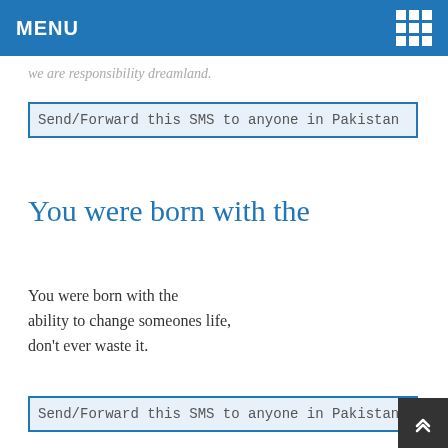MENU
we are responsibility dreamland.
Send/Forward this SMS to anyone in Pakistan
You were born with the
You were born with the ability to change someones life, don't ever waste it.
Send/Forward this SMS to anyone in Pakistan
You were born with ability